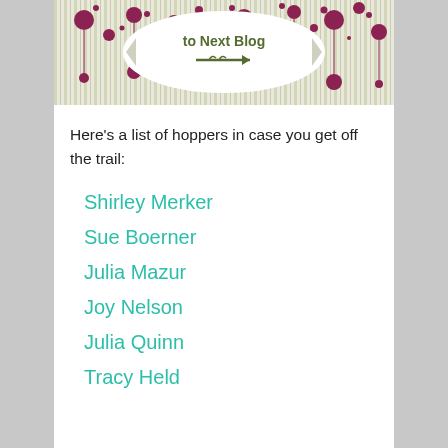[Figure (illustration): Decorative blog hop banner image with striped background in green/pink, polka dot circles in dark pink/maroon, and a white oval badge with 'to Next Blog' text and an arrow pointing right.]
Here’s a list of hoppers in case you get off the trail:
Shirley Merker
Sue Boerner
Julia Mazur
Joy Nelson
Julia Quinn
Tracy Held